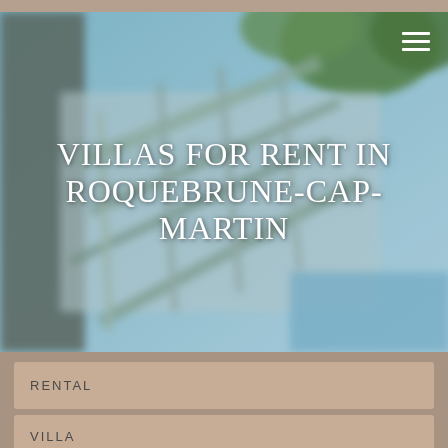[Figure (photo): Blurred exterior photo of a modern villa with glass and metal architecture, trees and blue sky in background]
VILLAS FOR RENT IN ROQUEBRUNE-CAP-MARTIN
RENTAL
VILLA